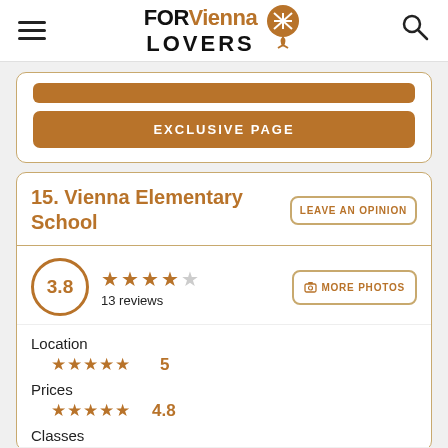FOR Vienna LOVERS
[Figure (screenshot): Partial card with golden button stub and EXCLUSIVE PAGE button]
15. Vienna Elementary School
3.8 — 4 filled stars, 1 empty star — 13 reviews
Location — 5 stars — 5
Prices — 5 stars — 4.8
Classes